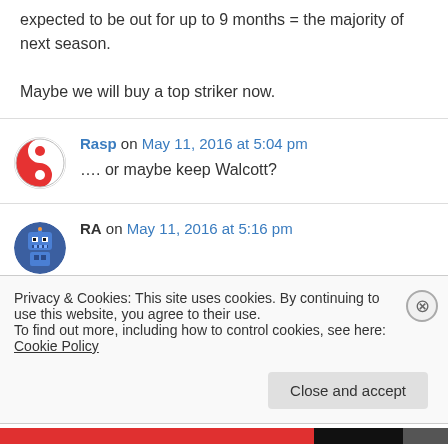expected to be out for up to 9 months = the majority of next season.

Maybe we will buy a top striker now.
Rasp on May 11, 2016 at 5:04 pm
…. or maybe keep Walcott?
RA on May 11, 2016 at 5:16 pm
Privacy & Cookies: This site uses cookies. By continuing to use this website, you agree to their use.
To find out more, including how to control cookies, see here: Cookie Policy
Close and accept